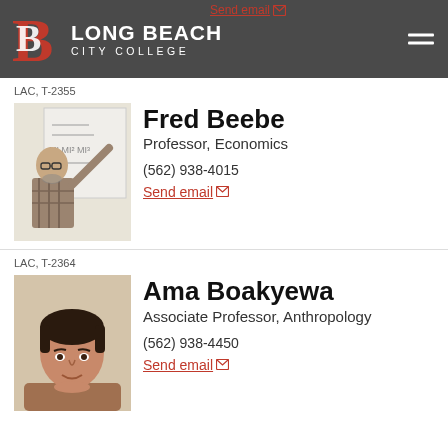Long Beach City College
Send email
LAC, T-2355
[Figure (photo): Photo of Fred Beebe, a bald man with glasses and beard, pointing at a whiteboard with equations, wearing a plaid shirt]
Fred Beebe
Professor, Economics
(562) 938-4015
Send email
LAC, T-2364
[Figure (photo): Photo of Ama Boakyewa, a woman with short hair, close-up portrait]
Ama Boakyewa
Associate Professor, Anthropology
(562) 938-4450
Send email